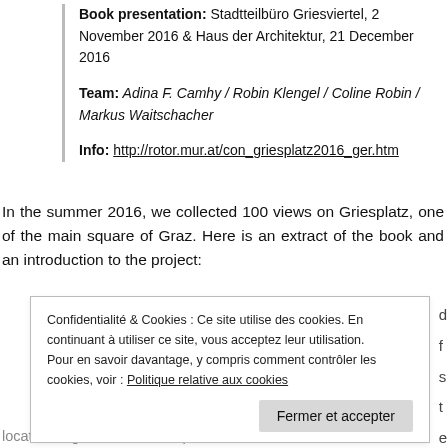Book presentation: Stadtteilbüro Griesviertel, 2 November 2016 & Haus der Architektur, 21 December 2016
Team: Adina F. Camhy / Robin Klengel / Coline Robin / Markus Waitschacher
Info: http://rotor.mur.at/con_griesplatz2016_ger.htm
In the summer 2016, we collected 100 views on Griesplatz, one of the main square of Graz. Here is an extract of the book and an introduction to the project:
Confidentialité & Cookies : Ce site utilise des cookies. En continuant à utiliser ce site, vous acceptez leur utilisation. Pour en savoir davantage, y compris comment contrôler les cookies, voir : Politique relative aux cookies
location might be seen as a place of fear or a favourite